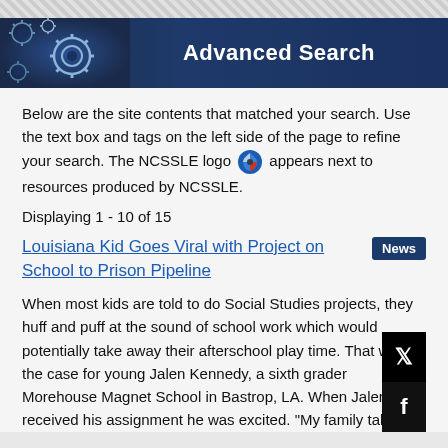[Figure (other): Advanced Search banner header with gear/cog icons on dark blue background and white bold text reading 'Advanced Search']
Below are the site contents that matched your search. Use the text box and tags on the left side of the page to refine your search. The NCSSLE logo [logo icon] appears next to resources produced by NCSSLE.
Displaying 1 - 10 of 15
Louisiana Kid Goes Viral with Project on School to Prison Pipeline
When most kids are told to do Social Studies projects, they huff and puff at the sound of school work which would potentially take away their afterschool play time. That wasn't the case for young Jalen Kennedy, a sixth grader Morehouse Magnet School in Bastrop, LA. When Jalen received his assignment he was excited. "My family talk